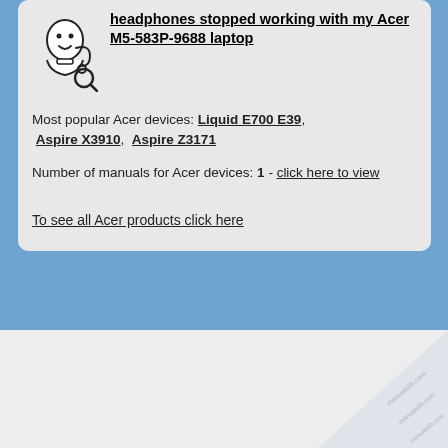headphones stopped working with my Acer M5-583P-9688 laptop
Most popular Acer devices: Liquid E700 E39, Aspire X3910, Aspire Z3171
Number of manuals for Acer devices: 1 - click here to view
To see all Acer products click here